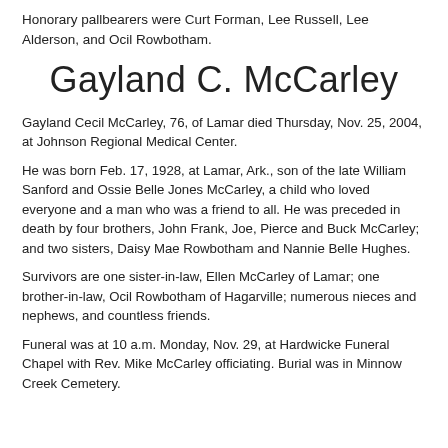Honorary pallbearers were Curt Forman, Lee Russell, Lee Alderson, and Ocil Rowbotham.
Gayland C. McCarley
Gayland Cecil McCarley, 76, of Lamar died Thursday, Nov. 25, 2004, at Johnson Regional Medical Center.
He was born Feb. 17, 1928, at Lamar, Ark., son of the late William Sanford and Ossie Belle Jones McCarley, a child who loved everyone and a man who was a friend to all. He was preceded in death by four brothers, John Frank, Joe, Pierce and Buck McCarley; and two sisters, Daisy Mae Rowbotham and Nannie Belle Hughes.
Survivors are one sister-in-law, Ellen McCarley of Lamar; one brother-in-law, Ocil Rowbotham of Hagarville; numerous nieces and nephews, and countless friends.
Funeral was at 10 a.m. Monday, Nov. 29, at Hardwicke Funeral Chapel with Rev. Mike McCarley officiating. Burial was in Minnow Creek Cemetery.